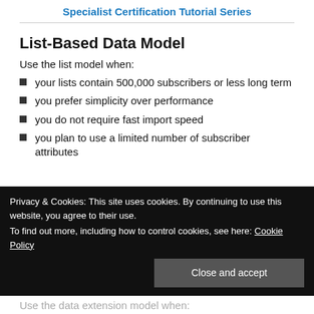Specialist Certification Tutorial Series
List-Based Data Model
Use the list model when:
your lists contain 500,000 subscribers or less long term
you prefer simplicity over performance
you do not require fast import speed
you plan to use a limited number of subscriber attributes
Privacy & Cookies: This site uses cookies. By continuing to use this website, you agree to their use. To find out more, including how to control cookies, see here: Cookie Policy
Use the data extension model when: